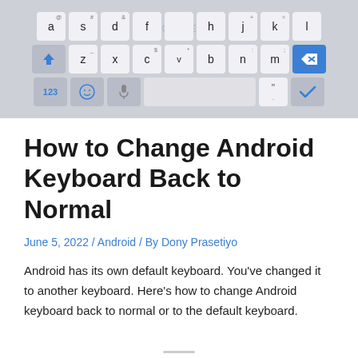[Figure (screenshot): Screenshot of an Android keyboard showing QWERTY layout with shift, backspace, 123, emoji, microphone, spacebar, and checkmark keys. A 'MONKEY' watermark is visible in the center.]
How to Change Android Keyboard Back to Normal
June 5, 2022 / Android / By Dony Prasetiyo
Android has its own default keyboard. You've changed it to another keyboard. Here's how to change Android keyboard back to normal or to the default keyboard.